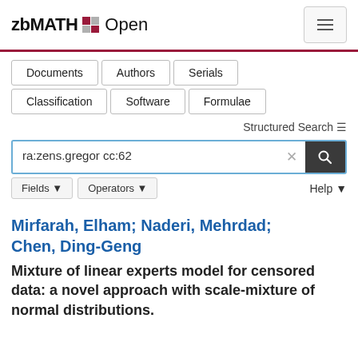zbMATH Open
Documents | Authors | Serials | Classification | Software | Formulae
Structured Search
ra:zens.gregor cc:62
Fields   Operators   Help
Mirfarah, Elham; Naderi, Mehrdad; Chen, Ding-Geng
Mixture of linear experts model for censored data: a novel approach with scale-mixture of normal distributions.